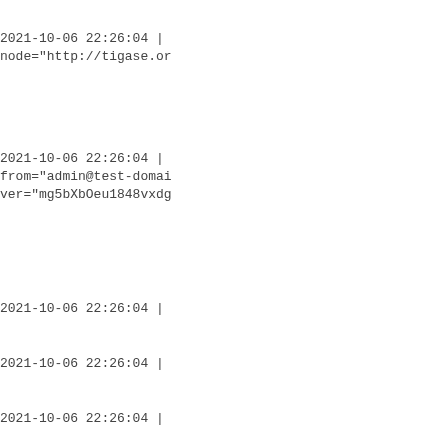2021-10-06 22:26:04 | node="http://tigase.or
2021-10-06 22:26:04 | from="admin@test-domai ver="mg5bXbOeu1848vxdg
2021-10-06 22:26:04 |
2021-10-06 22:26:04 |
2021-10-06 22:26:04 | node="http://tigase.or
2021-10-06 22:26:04 | from="admin@test-domai ver="mg5bXbOeu1848vxdg
2021-10-06 22:26:04 | node="http://tigase.or
2021-10-06 22:26:04 | from="admin@test-domai ver="mg5bXbOeu1848vxdg
2021-10-06 22:26:04 |